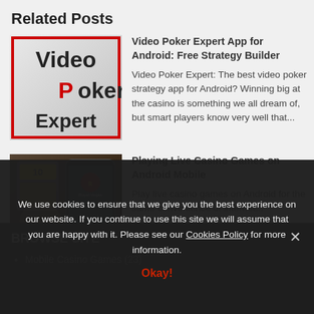Related Posts
[Figure (screenshot): Video Poker Expert app thumbnail — white background with red-bordered rectangle, text 'Video Poker Expert' in large black and red letters]
Video Poker Expert App for Android: Free Strategy Builder
Video Poker Expert: The best video poker strategy app for Android? Winning big at the casino is something we all dream of, but smart players know very well that...
[Figure (screenshot): Live casino mobile games screenshot showing slot machine graphics, Royal Vegas casino logo on mobile phone]
Playing Live Casino Games on Android Mobile
Play live casino games on Android for the same convenience of internet...
BROWSE SITE
Mobile Casino Games (23)
We use cookies to ensure that we give you the best experience on our website. If you continue to use this site we will assume that you are happy with it. Please see our Cookies Policy for more information.
Okay!